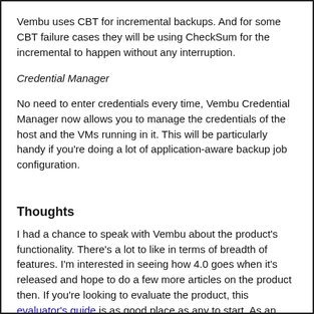Vembu uses CBT for incremental backups. And for some CBT failure cases they will be using CheckSum for the incremental to happen without any interruption.
Credential Manager
No need to enter credentials every time, Vembu Credential Manager now allows you to manage the credentials of the host and the VMs running in it. This will be particularly handy if you're doing a lot of application-aware backup job configuration.
Thoughts
I had a chance to speak with Vembu about the product's functionality. There's a lot to like in terms of breadth of features. I'm interested in seeing how 4.0 goes when it's released and hope to do a few more articles on the product then. If you're looking to evaluate the product, this evaluator's guide is as good place as any to start. As an aside, Vembu are also offering 10% off their suite this Halloween (until November 2nd) – see here for more details.